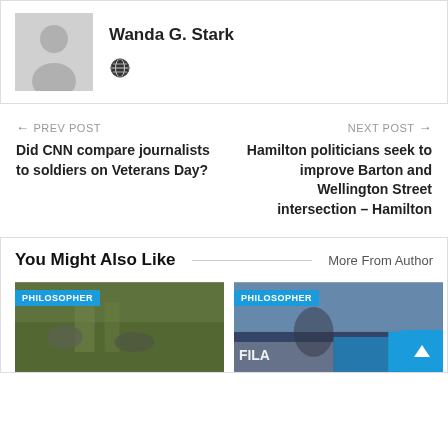[Figure (photo): Author profile section with gray placeholder avatar silhouette and globe icon, author name Wanda G. Stark]
Wanda G. Stark
PREV POST
Did CNN compare journalists to soldiers on Veterans Day?
NEXT POST
Hamilton politicians seek to improve Barton and Wellington Street intersection – Hamilton
You Might Also Like
More From Author
[Figure (photo): Card image with PHILOSOPHER badge showing soldiers or workers outdoors]
[Figure (photo): Card image with PHILOSOPHER badge showing tennis player with FILA branding and crowd]